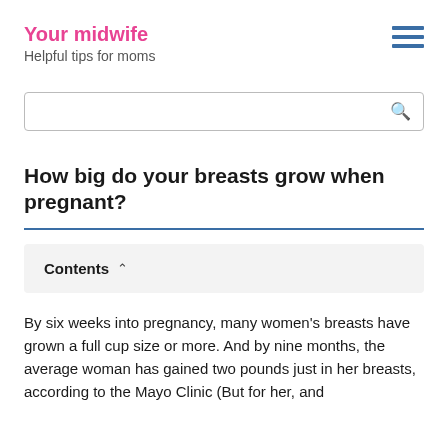Your midwife
Helpful tips for moms
How big do your breasts grow when pregnant?
Contents
By six weeks into pregnancy, many women's breasts have grown a full cup size or more. And by nine months, the average woman has gained two pounds just in her breasts, according to the Mayo Clinic (But for her, and